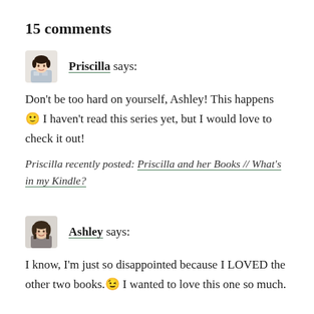15 comments
Priscilla says:
Don't be too hard on yourself, Ashley! This happens 🙂 I haven't read this series yet, but I would love to check it out!
Priscilla recently posted: Priscilla and her Books // What's in my Kindle?
Ashley says:
I know, I'm just so disappointed because I LOVED the other two books. 😊 I wanted to love this one so much.